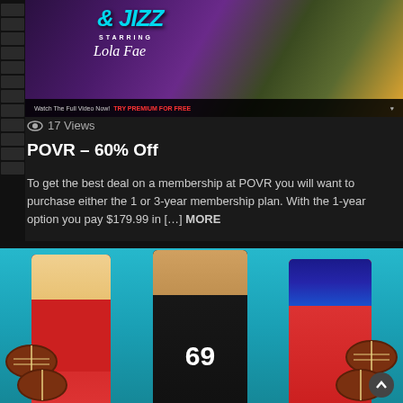[Figure (screenshot): Video thumbnail with colorful background, title '& JIZZ', STARRING text, and performer name in script font. Watch The Full Video Now! TRY PREMIUM FOR FREE banner at bottom.]
17 Views
POVR – 60% Off
To get the best deal on a membership at POVR you will want to purchase either the 1 or 3-year membership plan. With the 1-year option you pay $179.99 in [...] MORE
READ MORE
[Figure (photo): Football-themed scene with three people in front of a teal/blue background. Two women in red cheerleader outfits and one man in a black jersey with number 69. Multiple football props around them.]